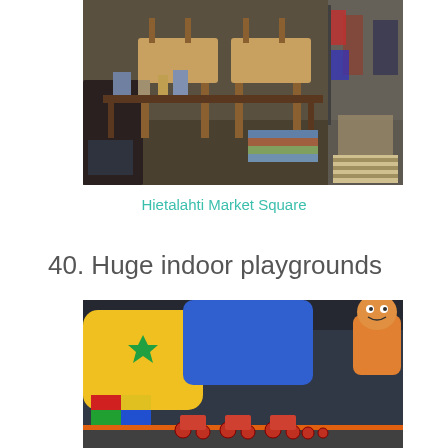[Figure (photo): Flea market scene with wooden chairs, various secondhand items, books, and other goods on tables and the ground, with people browsing in the background.]
Hietalahti Market Square
40. Huge indoor playgrounds
[Figure (photo): Indoor playground with colorful inflatable structures, foam blocks, and small ride-on toy vehicles on a track.]